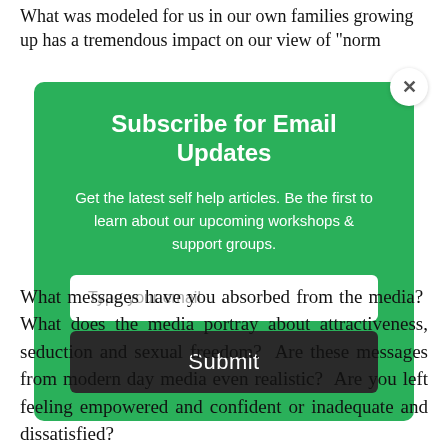What was modeled for us in our own families growing up has a tremendous impact on our view of "norm
[Figure (screenshot): Email subscription modal popup with green background. Title: 'Subscribe for Email Updates'. Description text: 'Get the latest self help articles. Be the first to learn about our upcoming workshops & support groups.' Email input field with placeholder 'Type your email'. Dark submit button labeled 'Submit'. Close button (X) in top right corner.]
What messages have you absorbed from the media? What does the media portray about attractiveness, seduction and sexual freedom? Are these messages from modern day media even realistic? Are you left feeling empowered and confident or inadequate and dissatisfied?